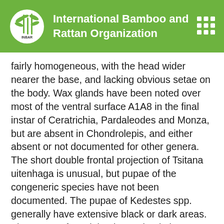International Bamboo and Rattan Organization
fairly homogeneous, with the head wider nearer the base, and lacking obvious setae on the body. Wax glands have been noted over most of the ventral surface A1A8 in the final instar of Ceratrichia, Pardaleodes and Monza, but are absent in Chondrolepis, and either absent or not documented for other genera. The short double frontal projection of Tsitana uitenhaga is unusual, but pupae of the congeneric species have not been documented. The pupae of Kedestes spp. generally have extensive black or dark areas. The pupae of Pardaleodes and Ankola are very flimsy and collapse after emergence. All known pupae of Chondrolepis spp. have a short, blunt downturned frontal projection, not seen for any other Afrotropical genera, although Semalea spp. may have a short blunt projection. The remaining pupae are all